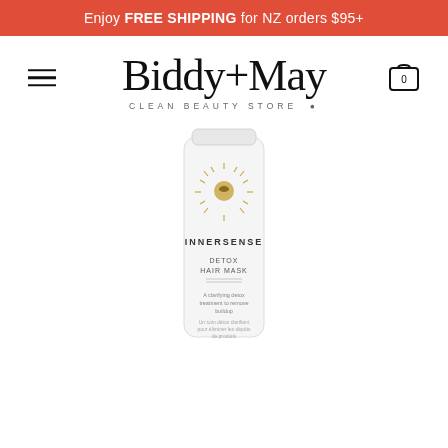Enjoy FREE SHIPPING for NZ orders $95+
[Figure (logo): Biddy+May Clean Beauty Store logo with hamburger menu and shopping cart icon]
[Figure (photo): Innersense Detox Hair Mask product tube, white packaging with gold sun/bee emblem, standing upright on white background]